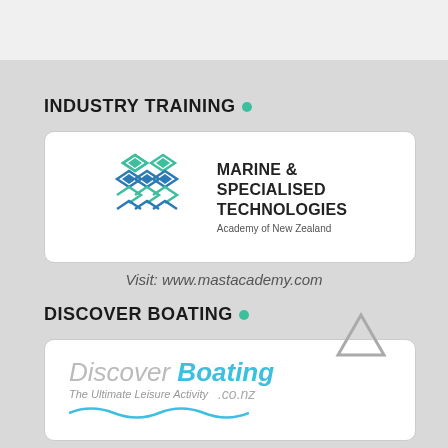INDUSTRY TRAINING
[Figure (logo): Marine & Specialised Technologies Academy of New Zealand logo with geometric diamond/wave pattern in green and blue]
Visit: www.mastacademy.com
DISCOVER BOATING
[Figure (logo): Discover Boating co.nz logo — The Ultimate Leisure Activity]